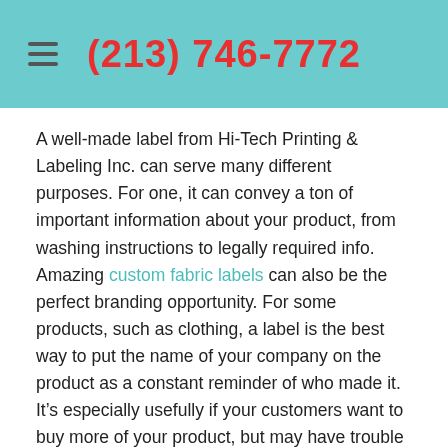(213) 746-7772
A well-made label from Hi-Tech Printing & Labeling Inc. can serve many different purposes. For one, it can convey a ton of important information about your product, from washing instructions to legally required info. Amazing custom fabric labels can also be the perfect branding opportunity. For some products, such as clothing, a label is the best way to put the name of your company on the product as a constant reminder of who made it. It’s especially usefully if your customers want to buy more of your product, but may have trouble remember the company name.
With fabric labels from Hi-Tech Printing & Labeling Inc. you can have a unique way to showcase pertinent information as well as a bit of personality. For example, you can put your company’s logo on a